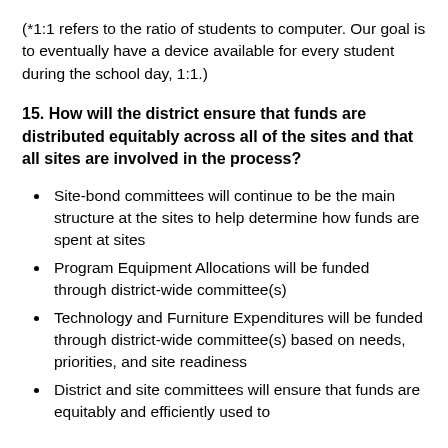(*1:1 refers to the ratio of students to computer. Our goal is to eventually have a device available for every student during the school day, 1:1.)
15. How will the district ensure that funds are distributed equitably across all of the sites and that all sites are involved in the process?
Site-bond committees will continue to be the main structure at the sites to help determine how funds are spent at sites
Program Equipment Allocations will be funded through district-wide committee(s)
Technology and Furniture Expenditures will be funded through district-wide committee(s) based on needs, priorities, and site readiness
District and site committees will ensure that funds are equitably and efficiently used to